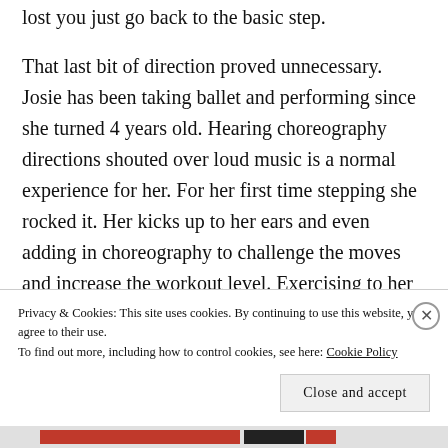lost you just go back to the basic step.
That last bit of direction proved unnecessary. Josie has been taking ballet and performing since she turned 4 years old. Hearing choreography directions shouted over loud music is a normal experience for her. For her first time stepping she rocked it. Her kicks up to her ears and even adding in choreography to challenge the moves and increase the workout level. Exercising to her left maintained personal pace but had to keep
Privacy & Cookies: This site uses cookies. By continuing to use this website, you agree to their use.
To find out more, including how to control cookies, see here: Cookie Policy
Close and accept